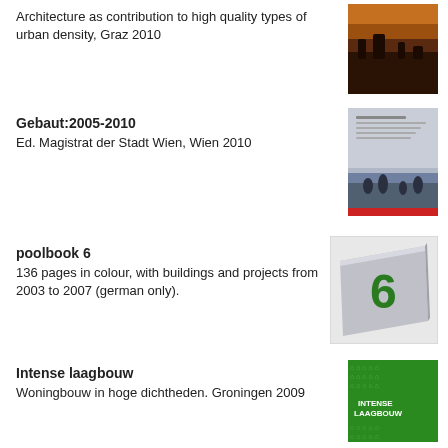Architecture as contribution to high quality types of urban density, Graz 2010
[Figure (photo): Book cover with dark reddish-brown landscape/field image]
Gebaut:2005-2010
Ed. Magistrat der Stadt Wien, Wien 2010
[Figure (photo): Book cover with grey/blue tones showing silhouettes of people]
poolbook 6
136 pages in colour, with buildings and projects from 2003 to 2007 (german only).
[Figure (photo): Book cover showing a grey metallic book with a green number 6 on it]
Intense laagbouw
Woningbouw in hoge dichtheden. Groningen 2009
[Figure (photo): Book cover with green background and white text reading INTENSE LAAGBOUW]